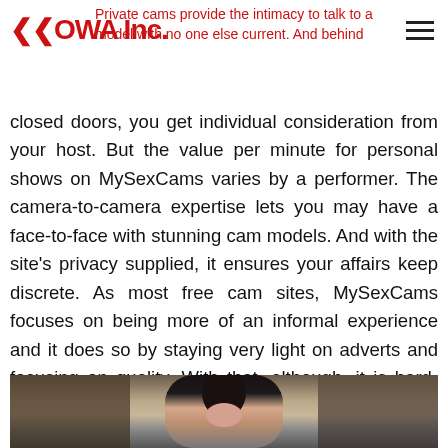KKOWA Inc.
Private cams provide the intimacy to talk to a model with no one else current. And behind closed doors, you get individual consideration from your host. But the value per minute for personal shows on MySexCams varies by a performer. The camera-to-camera expertise lets you may have a face-to-face with stunning cam models. And with the site’s privacy supplied, it ensures your affairs keep discrete. As most free cam sites, MySexCams focuses on being more of an informal experience and it does so by staying very light on adverts and focusing on quality. With that, although, it is hard-pressed to offer any token package deal aside from a fair one, even for probably the most dedicated.
[Figure (photo): Photo of a young woman with long dark hair, photographed indoors against a curtained background]